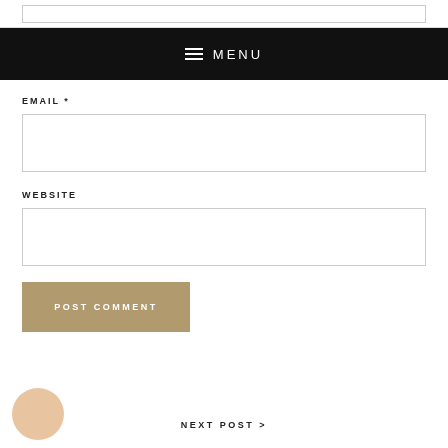≡ MENU
EMAIL *
WEBSITE
POST COMMENT
NEXT POST >